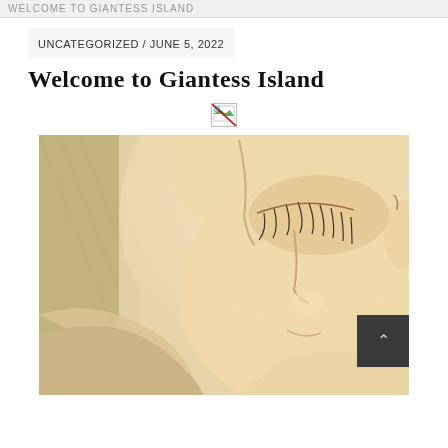WELCOME TO GIANTESS ISLAND
UNCATEGORIZED / JUNE 5, 2022
Welcome to Giantess Island
[Figure (photo): Close-up photo of a large face of a woman looking downward, showing eye with lashes, nose, and part of shoulder — stylized digital art with warm skin tones and a textured background]
[Figure (other): Broken image placeholder icon]